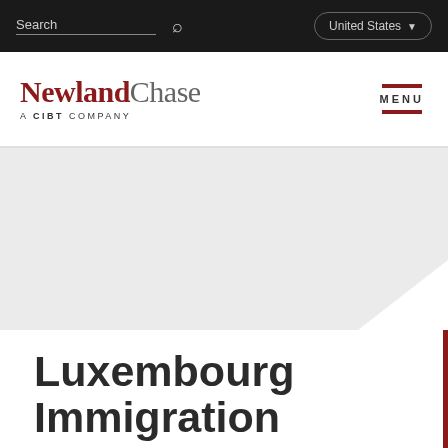Search | United States
[Figure (logo): Newland Chase - A CIBT Company logo with dark red and gray text, accompanied by MENU button with red lines]
[Figure (photo): Gray hero banner section with diagonal cut at bottom right corner]
Luxembourg Immigration Services